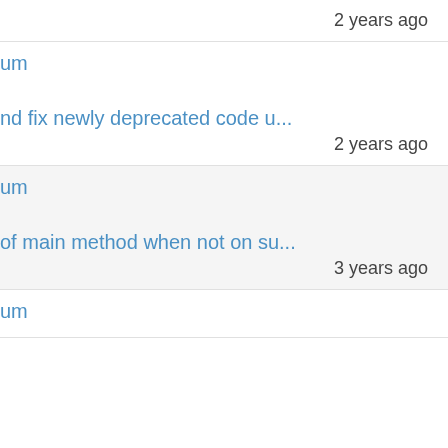2 years ago
um

nd fix newly deprecated code u...
2 years ago
um

of main method when not on su...
3 years ago
um